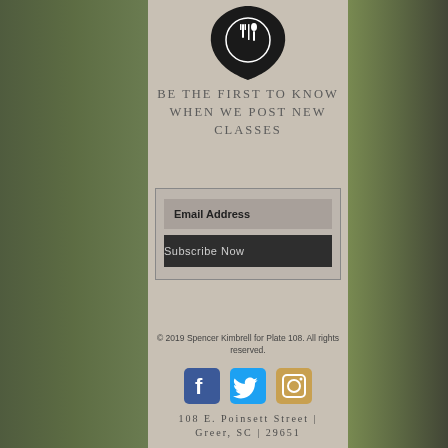[Figure (logo): Circular chef/food logo with fork and spoon silhouette inside a black emblem shape]
BE THE FIRST TO KNOW WHEN WE POST NEW CLASSES
[Figure (other): Email subscription form box with Email Address input field and Subscribe Now button]
© 2019 Spencer Kimbrell for Plate 108. All rights reserved.
[Figure (other): Social media icons: Facebook, Twitter, Instagram]
108 E. Poinsett Street | Greer, SC | 29651